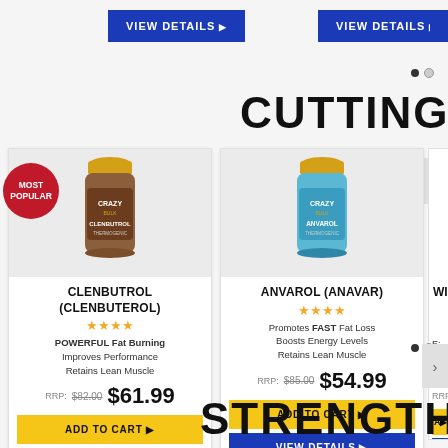[Figure (screenshot): E-commerce supplement store page showing cutting and strength product sections with product cards for Clenbutrol (Clenbuterol) and Anvarol (Anavar), partially visible third product (WIN-), with ADD TO CART and VIEW DETAILS buttons, pricing and star ratings.]
VIEW DETAILS
VIEW DETAILS
CUTTING
MOST POPULAR
CLENBUTROL (CLENBUTEROL)
★★★★
POWERFUL Fat Burning
Improves Performance
Retains Lean Muscle
RRP: $82.00   $61.99
ADD TO CART
VIEW DETAILS
ANVAROL (ANAVAR)
★★★★
Promotes FAST Fat Loss
Boosts Energy Levels
Retains Lean Muscle
RRP: $85.00   $54.99
ADD TO CART
VIEW DETAILS
STRENGTH